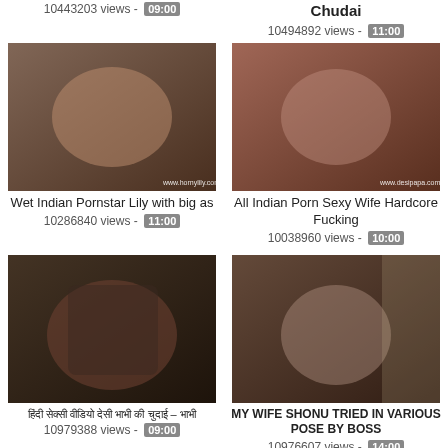10443203 views - 09:00
Chudai
10494892 views - 11:00
[Figure (photo): Thumbnail of Wet Indian Pornstar Lily with big as, watermark www.hornylily.com]
[Figure (photo): Thumbnail of All Indian Porn Sexy Wife Hardcore Fucking, watermark www.desipapa.com]
Wet Indian Pornstar Lily with big as
10286840 views - 11:00
All Indian Porn Sexy Wife Hardcore Fucking
10038960 views - 10:00
[Figure (photo): Thumbnail of Hindi text video]
[Figure (photo): Thumbnail of MY WIFE SHONU TRIED IN VARIOUS POSE BY BOSS]
हिंदी शीर्षक वाला वीडियो – शीर्षक
10979388 views - 09:00
MY WIFE SHONU TRIED IN VARIOUS POSE BY BOSS
10976607 views - 14:00